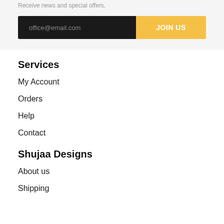Receive news and special offers.
office@email.com
JOIN US
Services
My Account
Orders
Help
Contact
Shujaa Designs
About us
Shipping